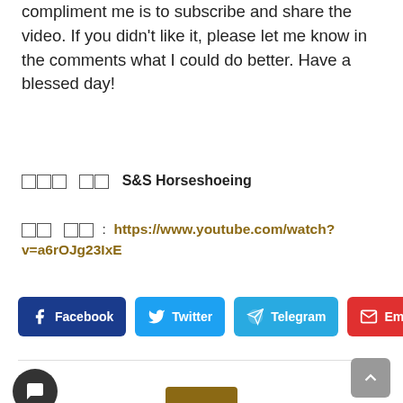compliment me is to subscribe and share the video. If you didn't like it, please let me know in the comments what I could do better. Have a blessed day!
🐴 🐎 S&S Horseshoeing
영상 링크 :  https://www.youtube.com/watch?v=a6rOJg23IxE
Facebook  Twitter  Telegram  Email (share buttons)